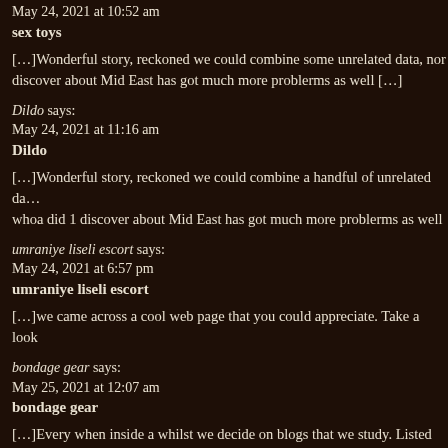May 24, 2021 at 10:52 am
sex toys
[…]Wonderful story, reckoned we could combine some unrelated data, nor discover about Mid East has got much more problerms as well […]
Dildo says:
May 24, 2021 at 11:16 am
Dildo
[…]Wonderful story, reckoned we could combine a handful of unrelated da… whoa did 1 discover about Mid East has got much more problerms as well
umraniye liseli escort says:
May 24, 2021 at 6:57 pm
umraniye liseli escort
[…]we came across a cool web page that you could appreciate. Take a look
bondage gear says:
May 25, 2021 at 12:07 am
bondage gear
[…]Every when inside a whilst we decide on blogs that we study. Listed be… pick […]
credit card processing referrals says: